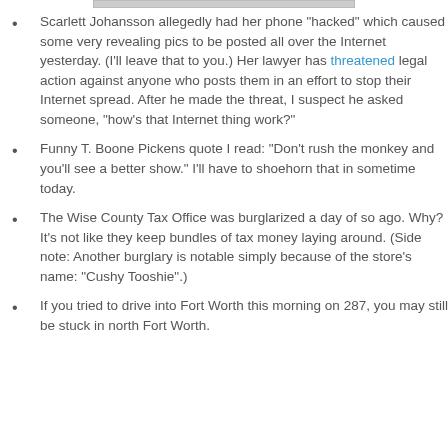[Figure (photo): Partial image at top of page, cropped, appears to be a photo with a grey/light bar visible at top edge.]
Scarlett Johansson allegedly had her phone "hacked" which caused some very revealing pics to be posted all over the Internet yesterday. (I'll leave that to you.) Her lawyer has threatened legal action against anyone who posts them in an effort to stop their Internet spread. After he made the threat, I suspect he asked someone, "how's that Internet thing work?"
Funny T. Boone Pickens quote I read: "Don't rush the monkey and you'll see a better show." I'll have to shoehorn that in sometime today.
The Wise County Tax Office was burglarized a day of so ago. Why? It's not like they keep bundles of tax money laying around. (Side note: Another burglary is notable simply because of the store's name: "Cushy Tooshie".)
If you tried to drive into Fort Worth this morning on 287, you may still be stuck in north Fort Worth.